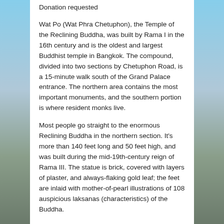Donation requested
Wat Po (Wat Phra Chetuphon), the Temple of the Reclining Buddha, was built by Rama I in the 16th century and is the oldest and largest Buddhist temple in Bangkok. The compound, divided into two sections by Chetuphon Road, is a 15-minute walk south of the Grand Palace entrance. The northern area contains the most important monuments, and the southern portion is where resident monks live.
Most people go straight to the enormous Reclining Buddha in the northern section. It’s more than 140 feet long and 50 feet high, and was built during the mid-19th-century reign of Rama III. The statue is brick, covered with layers of plaster, and always-flaking gold leaf; the feet are inlaid with mother-of-pearl illustrations of 108 auspicious laksanas (characteristics) of the Buddha.
Wat Saket (The Golden Mount)